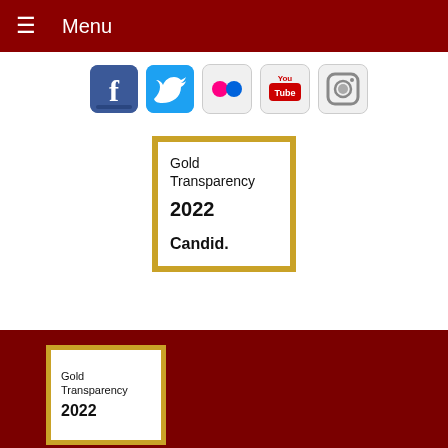≡ Menu
[Figure (illustration): Row of social media icons: Facebook, Twitter, Flickr, YouTube, Instagram]
[Figure (illustration): Gold Transparency 2022 Candid. badge with gold border, white interior, centered on white background]
[Figure (illustration): Gold Transparency 2022 badge with gold border, white interior, on dark red background, bottom left]